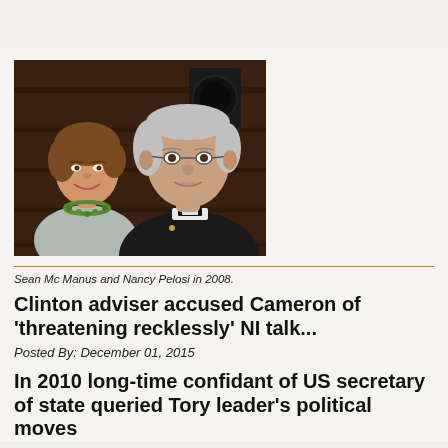[Figure (photo): Two people posing together: a woman with short brown hair wearing a light grey blazer and green necklace on the left, and a taller man in black clerical attire with glasses on the right, standing in front of dark wood paneling.]
Sean Mc Manus and Nancy Pelosi in 2008.
Clinton adviser accused Cameron of ‘threatening recklessly’ NI talk...
Posted By: December 01, 2015
In 2010 long-time confidant of US secretary of state queried Tory leader’s political moves